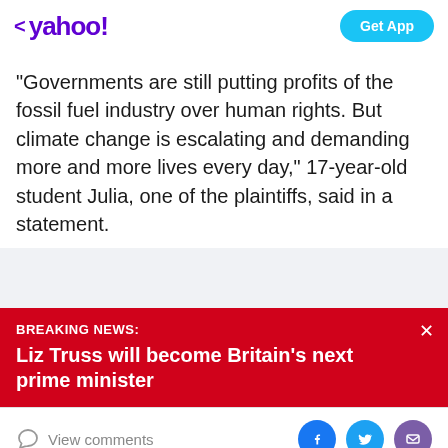< yahoo! | Get App
"Governments are still putting profits of the fossil fuel industry over human rights. But climate change is escalating and demanding more and more lives every day," 17-year-old student Julia, one of the plaintiffs, said in a statement.
BREAKING NEWS: Liz Truss will become Britain's next prime minister
View comments